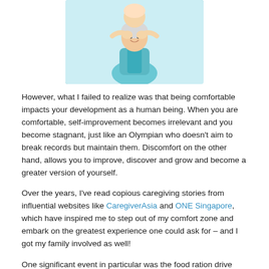[Figure (photo): An elderly woman in a teal/turquoise outfit smiling, with another person behind her placing hands on her shoulders, on a white background.]
However, what I failed to realize was that being comfortable impacts your development as a human being. When you are comfortable, self-improvement becomes irrelevant and you become stagnant, just like an Olympian who doesn't aim to break records but maintain them. Discomfort on the other hand, allows you to improve, discover and grow and become a greater version of yourself.
Over the years, I've read copious caregiving stories from influential websites like CaregiverAsia and ONE Singapore, which have inspired me to step out of my comfort zone and embark on the greatest experience one could ask for – and I got my family involved as well!
One significant event in particular was the food ration drive with Keeping Hope Alive. I worked with a team of kindred spirit individuals to pack and deliver rations to the underprivileged folks